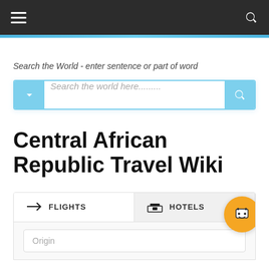Navigation bar with hamburger menu and search icon
Search the World - enter sentence or part of word
[Figure (screenshot): Search box with dropdown chevron button on left and search icon button on right, placeholder text: Search the world here.........]
Central African Republic Travel Wiki
[Figure (screenshot): Flights and Hotels tab bar with chatbot button, and Origin input field below]